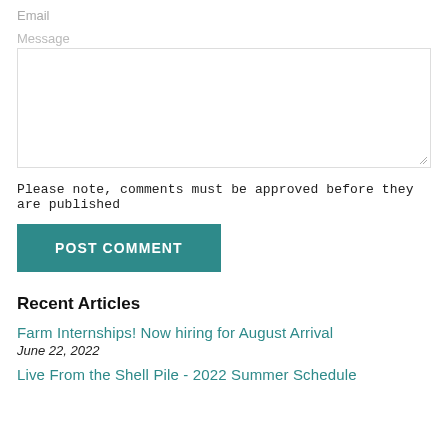Email
Message
Please note, comments must be approved before they are published
POST COMMENT
Recent Articles
Farm Internships! Now hiring for August Arrival
June 22, 2022
Live From the Shell Pile - 2022 Summer Schedule